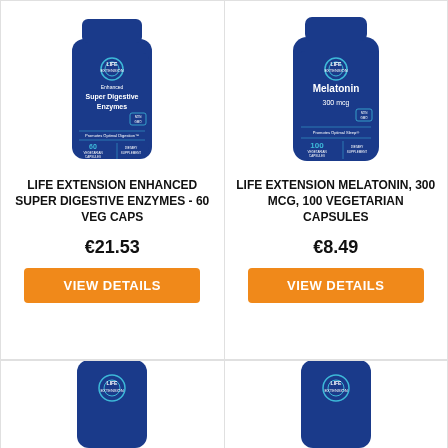[Figure (photo): Life Extension Enhanced Super Digestive Enzymes blue supplement bottle, 60 vegetarian capsules]
LIFE EXTENSION ENHANCED SUPER DIGESTIVE ENZYMES - 60 VEG CAPS
€21.53
VIEW DETAILS
[Figure (photo): Life Extension Melatonin 300 mcg blue supplement bottle, 100 vegetarian capsules]
LIFE EXTENSION MELATONIN, 300 MCG, 100 VEGETARIAN CAPSULES
€8.49
VIEW DETAILS
[Figure (photo): Partial view of a Life Extension blue supplement bottle (bottom row left)]
[Figure (photo): Partial view of a Life Extension blue supplement bottle (bottom row right)]